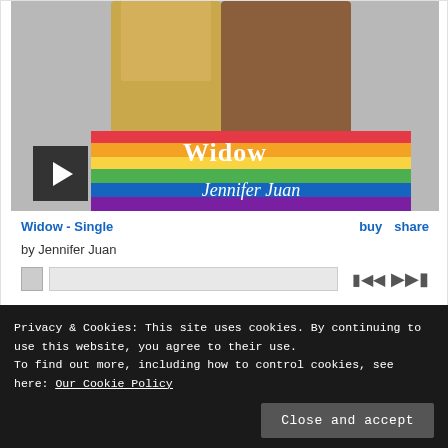[Figure (photo): Album cover for 'Widow' by Jennifer Juan showing two people in suits holding hands and holding a rainbow pride flag, with the text 'Widow Jennifer Juan' overlaid in white script]
Widow - Single
buy  share
by Jennifer Juan
Privacy & Cookies: This site uses cookies. By continuing to use this website, you agree to their use.
To find out more, including how to control cookies, see here: Our Cookie Policy
Close and accept